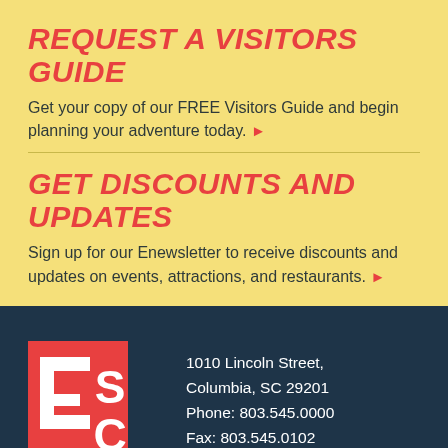REQUEST A VISITORS GUIDE
Get your copy of our FREE Visitors Guide and begin planning your adventure today. ▶
GET DISCOUNTS AND UPDATES
Sign up for our Enewsletter to receive discounts and updates on events, attractions, and restaurants. ▶
[Figure (logo): ESC logo: red square with white E shape on left, white S and C letters on right, on dark navy background]
1010 Lincoln Street, Columbia, SC 29201
Phone: 803.545.0000
Fax: 803.545.0102